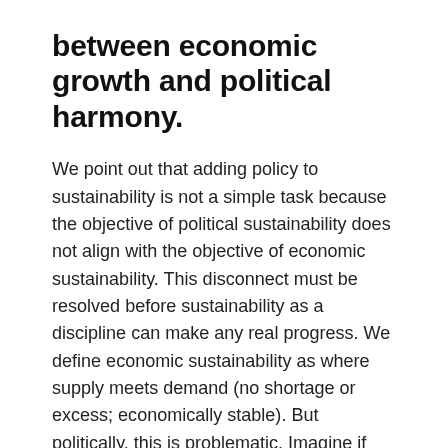between economic growth and political harmony.
We point out that adding policy to sustainability is not a simple task because the objective of political sustainability does not align with the objective of economic sustainability. This disconnect must be resolved before sustainability as a discipline can make any real progress. We define economic sustainability as where supply meets demand (no shortage or excess; economically stable). But politically, this is problematic. Imagine if there was just enough food (supply) for every person (demand) in a community. This would be an extremely risky place to be politically